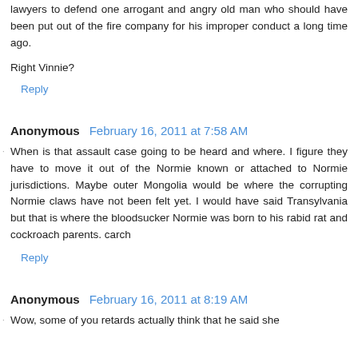lawyers to defend one arrogant and angry old man who should have been put out of the fire company for his improper conduct a long time ago.
Right Vinnie?
Reply
Anonymous February 16, 2011 at 7:58 AM
When is that assault case going to be heard and where. I figure they have to move it out of the Normie known or attached to Normie jurisdictions. Maybe outer Mongolia would be where the corrupting Normie claws have not been felt yet. I would have said Transylvania but that is where the bloodsucker Normie was born to his rabid rat and cockroach parents. carch
Reply
Anonymous February 16, 2011 at 8:19 AM
Wow, some of you retards actually think that he said she